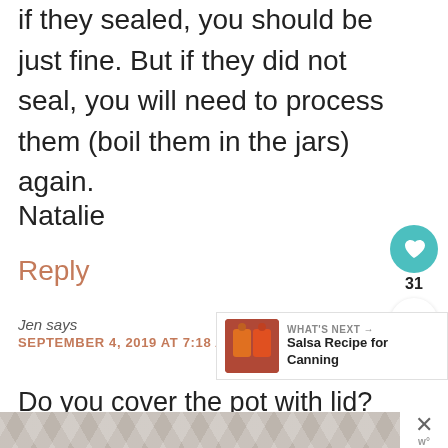if they sealed, you should be just fine. But if they did not seal, you will need to process them (boil them in the jars) again.
Natalie
Reply
Jen says
SEPTEMBER 4, 2019 AT 7:18 AM
[Figure (infographic): What's Next widget with thumbnail image and text 'Salsa Recipe for Canning']
Do you cover the pot with lid?
[Figure (infographic): Advertisement banner with hexagon pattern and close button with W logo]